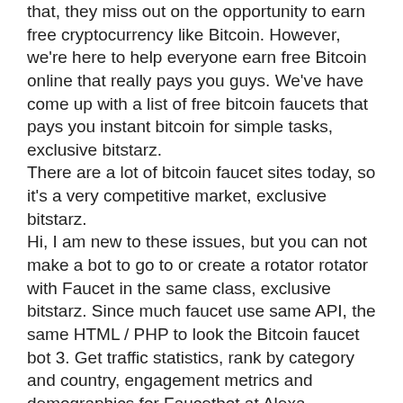that, they miss out on the opportunity to earn free cryptocurrency like Bitcoin. However, we're here to help everyone earn free Bitcoin online that really pays you guys. We've have come up with a list of free bitcoin faucets that pays you instant bitcoin for simple tasks, exclusive bitstarz.
There are a lot of bitcoin faucet sites today, so it's a very competitive market, exclusive bitstarz.
Hi, I am new to these issues, but you can not make a bot to go to or create a rotator rotator with Faucet in the same class, exclusive bitstarz. Since much faucet use same API, the same HTML / PHP to look the Bitcoin faucet bot 3. Get traffic statistics, rank by category and country, engagement metrics and demographics for Faucetbot at Alexa.
Trustpilot bitstarz
I just got a telefax from bitstarz stating that bitcoin casino kings customers will have an